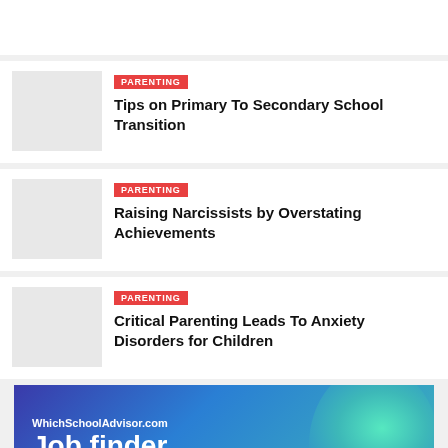[Figure (photo): Thumbnail image placeholder for article about primary to secondary school transition]
PARENTING
Tips on Primary To Secondary School Transition
[Figure (photo): Thumbnail image placeholder for article about raising narcissists]
PARENTING
Raising Narcissists by Overstating Achievements
[Figure (photo): Thumbnail image placeholder for article about critical parenting and anxiety]
PARENTING
Critical Parenting Leads To Anxiety Disorders for Children
[Figure (advertisement): WhichSchoolAdvisor.com Job finder advertisement banner with blue/teal gradient background and person's face]